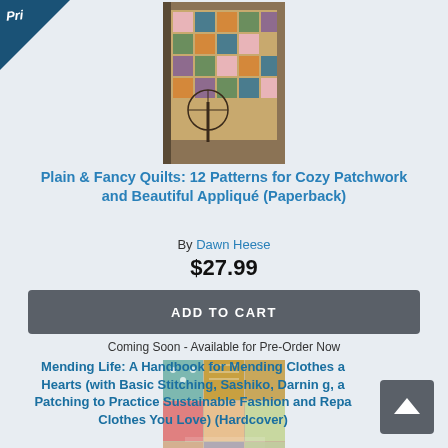[Figure (photo): Book cover of 'Plain & Fancy Quilts: 12 Patterns for Cozy Patchwork and Beautiful Appliqué' showing a colorful quilt draped near a spinning wheel]
Plain & Fancy Quilts: 12 Patterns for Cozy Patchwork and Beautiful Appliqué (Paperback)
By Dawn Heese
$27.99
ADD TO CART
Coming Soon - Available for Pre-Order Now
[Figure (photo): Book cover of 'Mending Life: A Handbook for Repairing Clothes and Hearts' showing a colorful patchwork fabric design with the title text]
Mending Life: A Handbook for Mending Clothes and Hearts (with Basic Stitching, Sashiko, Darnin g, and Patching to Practice Sustainable Fashion and Repairing Clothes You Love) (Hardcover)